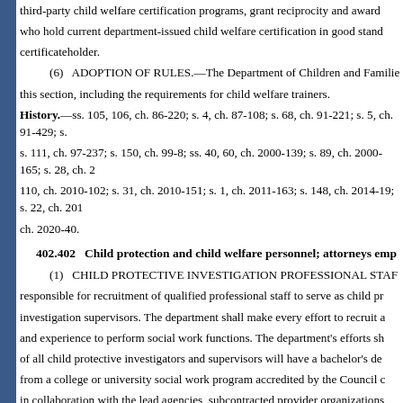third-party child welfare certification programs, grant reciprocity and award to who hold current department-issued child welfare certification in good stand certificateholder.
(6) ADOPTION OF RULES.—The Department of Children and Familie this section, including the requirements for child welfare trainers.
History.—ss. 105, 106, ch. 86-220; s. 4, ch. 87-108; s. 68, ch. 91-221; s. 5, ch. 91-429; s. s. 111, ch. 97-237; s. 150, ch. 99-8; ss. 40, 60, ch. 2000-139; s. 89, ch. 2000-165; s. 28, ch. 2 110, ch. 2010-102; s. 31, ch. 2010-151; s. 1, ch. 2011-163; s. 148, ch. 2014-19; s. 22, ch. 201 ch. 2020-40.
402.402 Child protection and child welfare personnel; attorneys emp
(1) CHILD PROTECTIVE INVESTIGATION PROFESSIONAL STAF responsible for recruitment of qualified professional staff to serve as child pr investigation supervisors. The department shall make every effort to recruit a and experience to perform social work functions. The department's efforts sh of all child protective investigators and supervisors will have a bachelor's de from a college or university social work program accredited by the Council c in collaboration with the lead agencies, subcontracted provider organizations created pursuant to s. 1004.615, and other partners in the child welfare syste candidates for child protective positions which reflects the preferences speci persons shall be given preference in the recruitment of qualified professional guidance and do not limit the department's discretion to select the best availa
(a) Individuals with baccalaureate degrees in social work and child prote